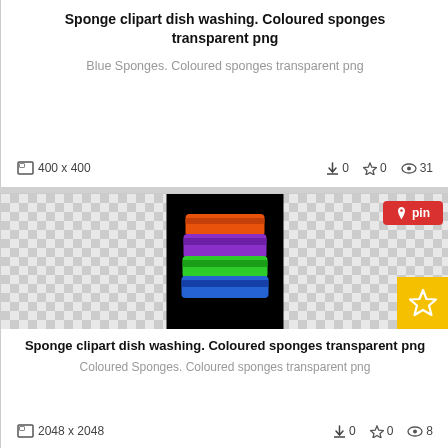Sponge clipart dish washing. Coloured sponges transparent png
Blue Sponges. Coloured sponges transparent png
400 x 400   ⬇ 0   ☆ 0   👁 31
[Figure (photo): Stack of coloured sponges (orange, purple, green, blue) on black background]
Sponge clipart dish washing. Coloured sponges transparent png
Coloured Sponges. Coloured sponges transparent png
2048 x 2048   ⬇ 0   ☆ 0   👁 8